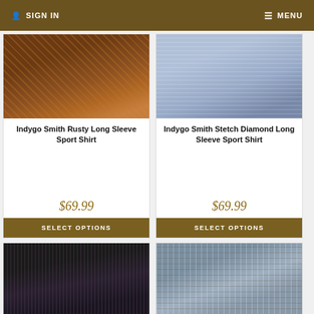SIGN IN   MENU
[Figure (photo): Indygo Smith Rusty Long Sleeve Sport Shirt - brown patterned dress shirt folded]
Indygo Smith Rusty Long Sleeve Sport Shirt
$69.99
SELECT OPTIONS
[Figure (photo): Indygo Smith Stetch Diamond Long Sleeve Sport Shirt - light blue patterned dress shirt folded]
Indygo Smith Stetch Diamond Long Sleeve Sport Shirt
$69.99
SELECT OPTIONS
[Figure (photo): Dark striped dress shirt folded, partial view]
[Figure (photo): Plaid/checkered sport shirts folded, partial view]